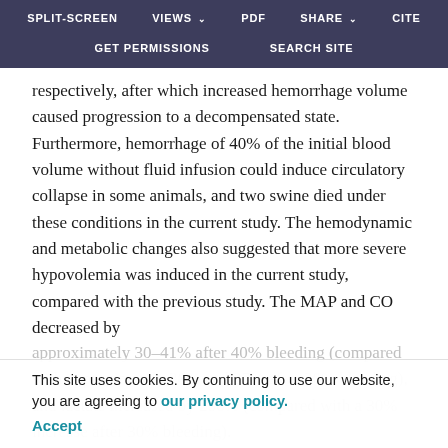SPLIT-SCREEN   VIEWS   PDF   SHARE   CITE   GET PERMISSIONS   SEARCH SITE
respectively, after which increased hemorrhage volume caused progression to a decompensated state. Furthermore, hemorrhage of 40% of the initial blood volume without fluid infusion could induce circulatory collapse in some animals, and two swine died under these conditions in the current study. The hemodynamic and metabolic changes also suggested that more severe hypovolemia was induced in the current study, compared with the previous study. The MAP and CO decreased by approximately 30–41% after 40% bleeding (compared with approximately 30% and 27% after 30% bleeding), and lactate increased by 286% (compared with a 30% increase after 30% bleeding).
This site uses cookies. By continuing to use our website, you are agreeing to our privacy policy.
Accept